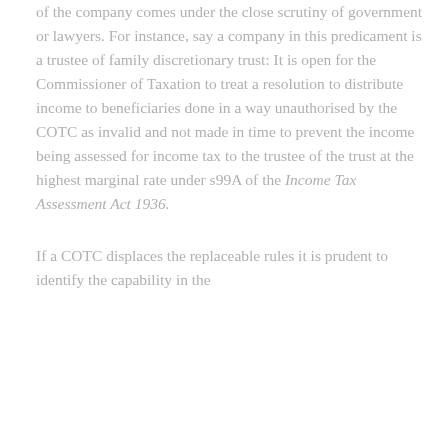of the company comes under the close scrutiny of government or lawyers. For instance, say a company in this predicament is a trustee of family discretionary trust: It is open for the Commissioner of Taxation to treat a resolution to distribute income to beneficiaries done in a way unauthorised by the COTC as invalid and not made in time to prevent the income being assessed for income tax to the trustee of the trust at the highest marginal rate under s99A of the Income Tax Assessment Act 1936.
If a COTC displaces the replaceable rules it is prudent to identify the capability in the